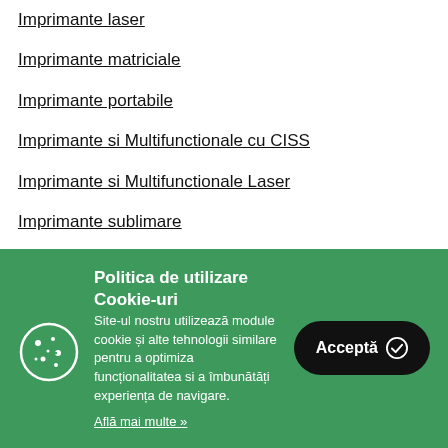Imprimante laser
Imprimante matriciale
Imprimante portabile
Imprimante si Multifunctionale cu CISS
Imprimante si Multifunctionale Laser
Imprimante sublimare
Imprimante Sublimare si Accesorii
Politica de utilizare Cookie-uri
Site-ul nostru utilizează module cookie și alte tehnologii similare pentru a optimiza funcționalitatea si a îmbunătăți experiența de navigare.
Află mai multe »